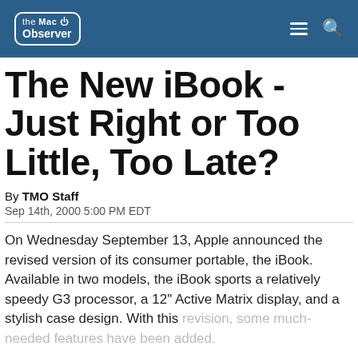the Mac Observer
The New iBook - Just Right or Too Little, Too Late?
By TMO Staff
Sep 14th, 2000 5:00 PM EDT
On Wednesday September 13, Apple announced the revised version of its consumer portable, the iBook. Available in two models, the iBook sports a relatively speedy G3 processor, a 12" Active Matrix display, and a stylish case design. With this revision, some much-needed features have been added.